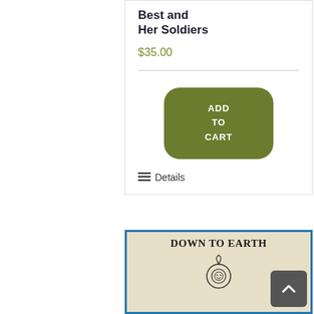Best and Her Soldiers
$35.00
ADD TO CART
Details
[Figure (photo): Book cover reading 'DOWN TO EARTH' with an emblem/seal in the center, beige/tan background with blue border]